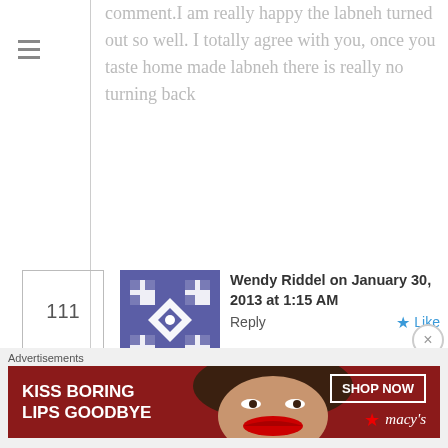comment.I am really happy the labneh turned out so well. I totally agree with you, once you taste home made labneh there is really no turning back
Wendy Riddel on January 30, 2013 at 1:15 AM   Reply  Like
Hi, I have been making Labneh at home now for several years but I am becoming increasingly miffed at having to discard the whey that is produced. Do you have any ideas on how to use the whey, maybe in scones or other baking, The whey that comes off butte
Advertisements
[Figure (illustration): Macy's advertisement: KISS BORING LIPS GOODBYE with a woman's face and red lips, SHOP NOW button and Macy's logo]